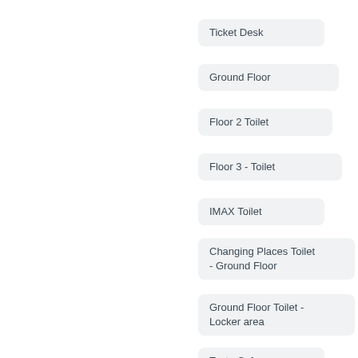Ticket Desk
Ground Floor
Floor 2 Toilet
Floor 3 - Toilet
IMAX Toilet
Changing Places Toilet - Ground Floor
Ground Floor Toilet - Locker area
Taste Cafe